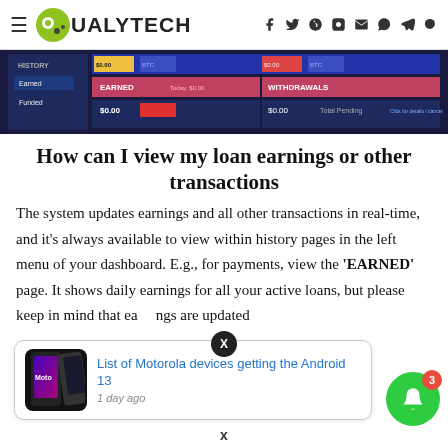QUALYTECH
[Figure (screenshot): Screenshot of a loan dashboard showing HISTORY, EARNED, and WITHDRAWALS panels with $0.00 values]
How can I view my loan earnings or other transactions
The system updates earnings and all other transactions in real-time, and it's always available to view within history pages in the left menu of your dashboard. E.g., for payments, view the 'EARNED' page. It shows daily earnings for all your active loans, but please keep in mind that earnings are updated
[Figure (screenshot): Advertisement: List of Motorola devices getting the Android 13, 1 day ago]